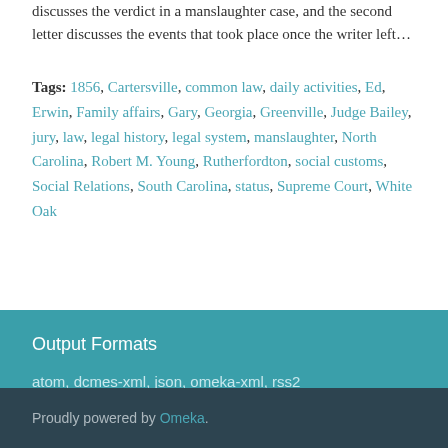(Pierce's father). The first letter discusses the verdict in a manslaughter case, and the second letter discusses the events that took place once the writer left…
Tags: 1856, Cartersville, common law, daily activities, Ed, Erwin, Family affairs, Gary, Georgia, Greenville, Judge Bailey, jury, law, legal history, legal system, manslaughter, North Carolina, Robert M. Young, Rutherfordton, social customs, Social Relations, South Carolina, status, Supreme Court, White Oak
Output Formats
atom, dcmes-xml, json, omeka-xml, rss2
Proudly powered by Omeka.